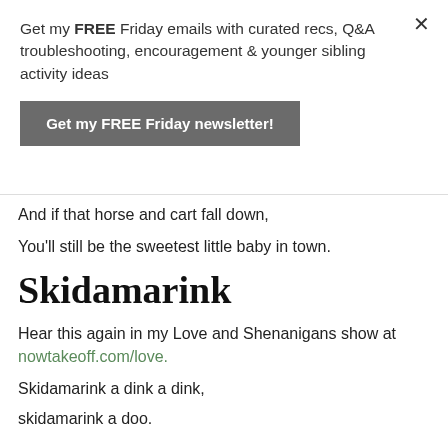Get my FREE Friday emails with curated recs, Q&A troubleshooting, encouragement & younger sibling activity ideas
Get my FREE Friday newsletter!
And if that horse and cart fall down,
You'll still be the sweetest little baby in town.
Skidamarink
Hear this again in my Love and Shenanigans show at nowtakeoff.com/love.
Skidamarink a dink a dink,
skidamarink a doo.